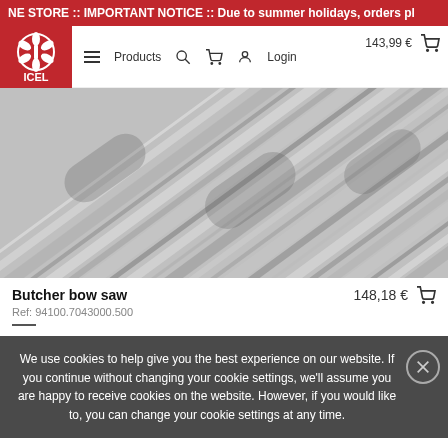NE STORE :: IMPORTANT NOTICE :: Due to summer holidays, orders pl
[Figure (logo): ICEL logo — red square with white flower/knife emblem and ICEL text]
Products   Login   143,99 €
[Figure (photo): Close-up photograph of metallic saw blades or ridged metal bars arranged diagonally, grayscale]
Butcher bow saw   148,18 €
Ref: 94100.7043000.500
We use cookies to help give you the best experience on our website. If you continue without changing your cookie settings, we'll assume you are happy to receive cookies on the website. However, if you would like to, you can change your cookie settings at any time.